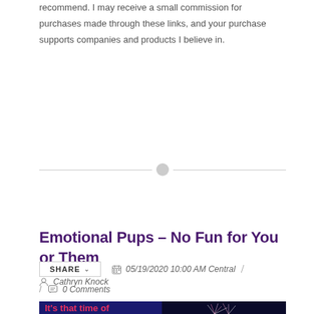recommend. I may receive a small commission for purchases made through these links, and your purchase supports companies and products I believe in.
Emotional Pups – No Fun for You or Them
SHARE  05/19/2020 10:00 AM Central / Cathryn Knock / 0 Comments
[Figure (photo): Partial view of a blog post preview image with dark blue background and fireworks, showing text 'It's that time of']